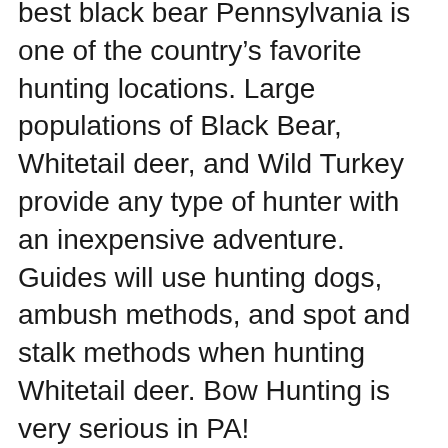best black bear Pennsylvania is one of the country's favorite hunting locations. Large populations of Black Bear, Whitetail deer, and Wild Turkey provide any type of hunter with an inexpensive adventure. Guides will use hunting dogs, ambush methods, and spot and stalk methods when hunting Whitetail deer. Bow Hunting is very serious in PA!
With over a million acres of public hunting land, we have some of the best whitetail, grouse, bear and turkey hunting in Pa. We welcome all hunters, families and kids. Deer*Bear*Turkey Full Fan Lodge вЂ¦ Pennsylvania hunter Vic Vough, right, with his first Maine Black